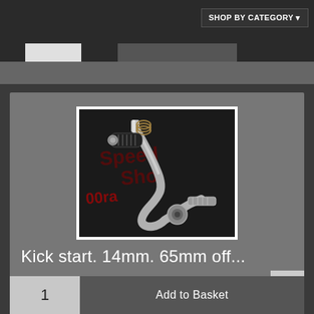SHOP BY CATEGORY
[Figure (photo): A silver motorcycle kick start lever with black rubber grip, photographed against a dark background with Speed Shop branding visible.]
Kick start. 14mm. 65mm off...
£10.99  £9.16 ExVAT
1  Add to Basket